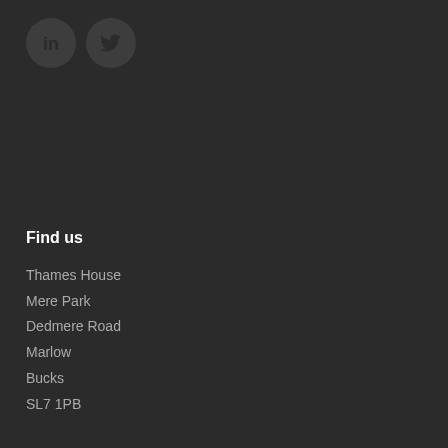[Figure (logo): LinkedIn and Twitter social media icons in dark circles]
Find us
Thames House
Mere Park
Dedmere Road
Marlow
Bucks
SL7 1PB